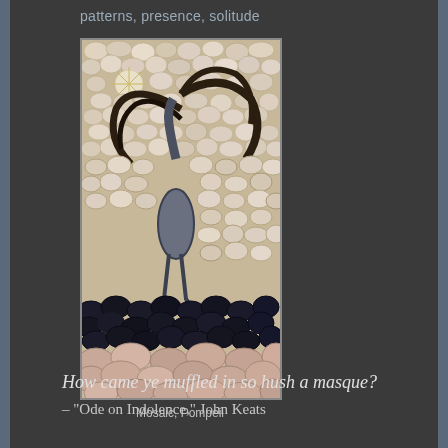patterns, presence, solitude
[Figure (photo): Ancient Roman mosaic from Pompeii depicting a crane or heron bird standing among stone pebble tiles, with dark arching branches above and a landscape of dark and pink stones below]
Mosaic, Pompeii
How came ye muffled in so hush a masque?
– "Ode on Indolence," John Keats